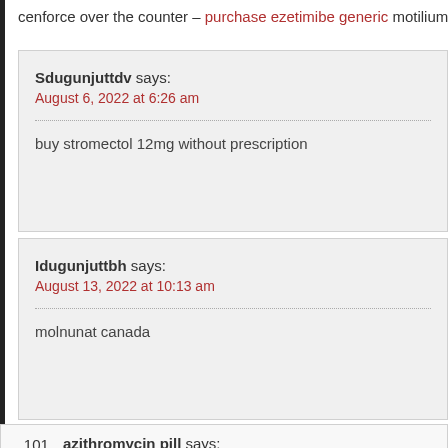cenforce over the counter – purchase ezetimibe generic motilium 10mg
Sdugunjuttdv says: August 6, 2022 at 6:26 am
buy stromectol 12mg without prescription
Idugunjuttbh says: August 13, 2022 at 10:13 am
molnunat canada
101. azithromycin pill says: June 19, 2022 at 8:59 am